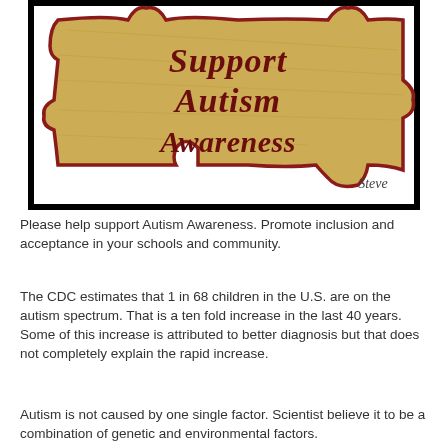[Figure (illustration): A golden/tan colored puzzle piece with dark red outline containing the text 'Support Autism Awareness' in dark red italic bold font. The puzzle piece has interlocking tabs on the sides and a notch at the bottom. A handwritten signature 'Steve' appears in the bottom right corner. The piece is framed with a thick black border.]
Please help support Autism Awareness. Promote inclusion and acceptance in your schools and community.
The CDC estimates that 1 in 68 children in the U.S. are on the autism spectrum. That is a ten fold increase in the last 40 years. Some of this increase is attributed to better diagnosis but that does not completely explain the rapid increase.
Autism is not caused by one single factor. Scientist believe it to be a combination of genetic and environmental factors.